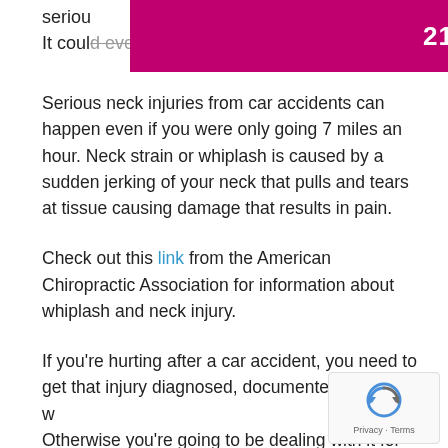214-946-7246
serious... worse. It could even lead to permanent damage.
Serious neck injuries from car accidents can happen even if you were only going 7 miles an hour. Neck strain or whiplash is caused by a sudden jerking of your neck that pulls and tears at tissue causing damage that results in pain.
Check out this link from the American Chiropractic Association for information about whiplash and neck injury.
If you're hurting after a car accident, you need to get that injury diagnosed, documented, and dealt with. Otherwise you're going to be dealing with it for a really long time.
[Figure (other): reCAPTCHA widget with Privacy and Terms labels]